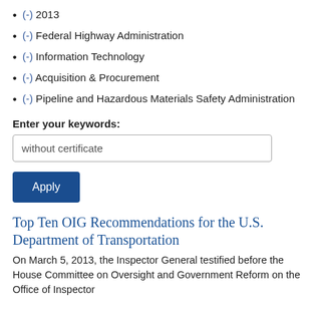(-) 2013
(-) Federal Highway Administration
(-) Information Technology
(-) Acquisition & Procurement
(-) Pipeline and Hazardous Materials Safety Administration
Enter your keywords:
without certificate
Apply
Top Ten OIG Recommendations for the U.S. Department of Transportation
On March 5, 2013, the Inspector General testified before the House Committee on Oversight and Government Reform on the Office of Inspector General's top recommendations for the